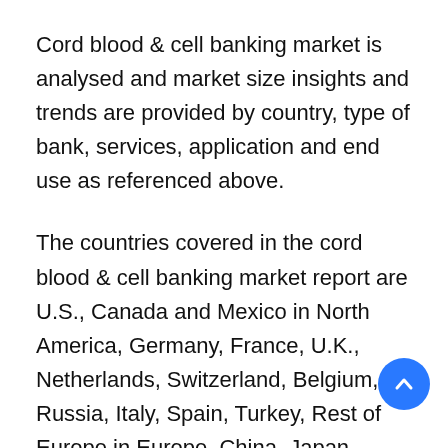Cord blood & cell banking market is analysed and market size insights and trends are provided by country, type of bank, services, application and end use as referenced above.
The countries covered in the cord blood & cell banking market report are U.S., Canada and Mexico in North America, Germany, France, U.K., Netherlands, Switzerland, Belgium, Russia, Italy, Spain, Turkey, Rest of Europe in Europe, China, Japan, India, South Korea, Singapore, Malaysia, Australia, Thailand, Indonesia, Philippines, Rest of Asia-Pacific (APAC) in the Asia-Pacific (APAC), Saudi Arabia, U.A.E, South Africa, Egypt, Israel,